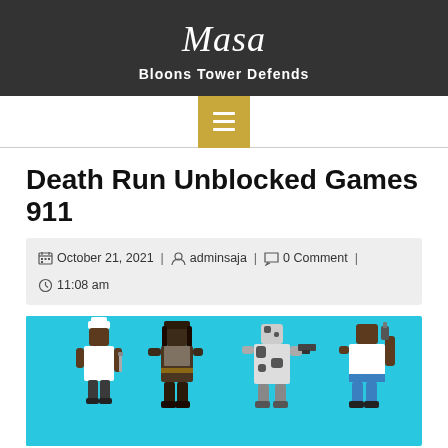Masa — Bloons Tower Defends
Death Run Unblocked Games 911
October 21, 2021 | adminsaja | 0 Comment | 11:08 am
[Figure (illustration): Game characters on a cyan/turquoise background: a chef holding a knife, a dark pirate/ninja character, a spotted/cow-pattern character with a gun, and a character holding items. Pixel art style characters from a death run game.]